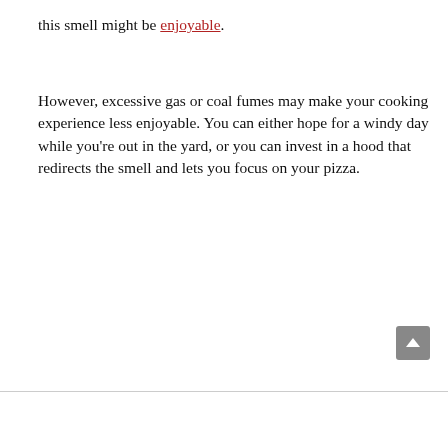this smell might be enjoyable.
However, excessive gas or coal fumes may make your cooking experience less enjoyable. You can either hope for a windy day while you're out in the yard, or you can invest in a hood that redirects the smell and lets you focus on your pizza.